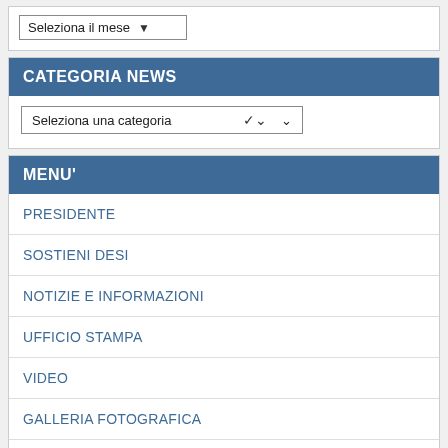Seleziona il mese
CATEGORIA NEWS
Seleziona una categoria
MENU'
PRESIDENTE
SOSTIENI DESI
NOTIZIE E INFORMAZIONI
UFFICIO STAMPA
VIDEO
GALLERIA FOTOGRAFICA
ALTRE LINGUE
contatti
LINK UTILI